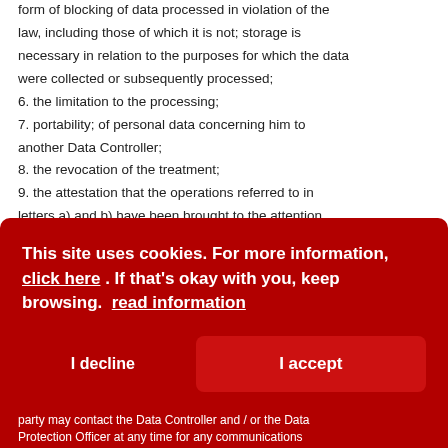form of blocking of data processed in violation of the law, including those of which it is not; storage is necessary in relation to the purposes for which the data were collected or subsequently processed; 6. the limitation to the processing; 7. portability; of personal data concerning him to another Data Controller; 8. the revocation of the treatment; 9. the attestation that the operations referred to in letters a) and b) have been brought to the attention, also with regard to their content, of those to whom the data have been communicated or disseminated, except in the case in which this fulfillment is proves
[Figure (screenshot): Cookie consent overlay banner in dark red/crimson color. Text reads: 'This site uses cookies. For more information, click here . If that's okay with you, keep browsing. read information'. Two buttons: 'I decline' (text only) and 'I accept' (filled red button).]
party may contact the Data Controller and / or the Data Protection Officer at any time for any communications